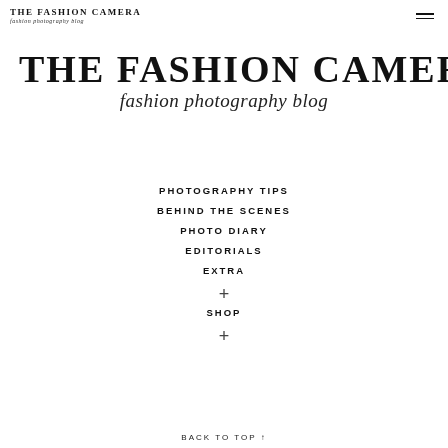THE FASHION CAMERA fashion photography blog
THE FASHION CAMERA
fashion photography blog
PHOTOGRAPHY TIPS
BEHIND THE SCENES
PHOTO DIARY
EDITORIALS
EXTRA
+
SHOP
+
BACK TO TOP ↑